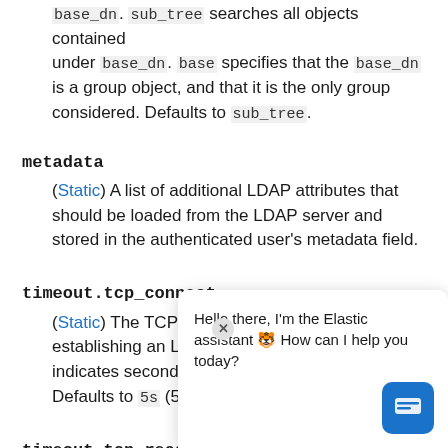base_dn. sub_tree searches all objects contained under base_dn. base specifies that the base_dn is a group object, and that it is the only group considered. Defaults to sub_tree.
metadata
(Static) A list of additional LDAP attributes that should be loaded from the LDAP server and stored in the authenticated user's metadata field.
timeout.tcp_connect
(Static) The TCP connect timeout period for establishing an LDAP connection. An s at the end indicates seconds, or ms indicates milliseconds. Defaults to 5s (5 seconds).
timeout.tcp_read
(Static) The read timeout period after establishing an LDAP connection. The tcp_read timeout applies to and is different from timeout.response and they cannot be used